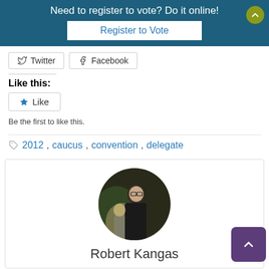Need to register to vote? Do it online! Register to Vote
[Figure (screenshot): Twitter and Facebook social share buttons]
Like this:
[Figure (screenshot): Like widget button with star icon and 'Be the first to like this.' text]
Be the first to like this.
2012, caucus, convention, delegate
[Figure (photo): Author profile photo of Robert Kangas, circular cropped, man with glasses in dark jacket with blurred background]